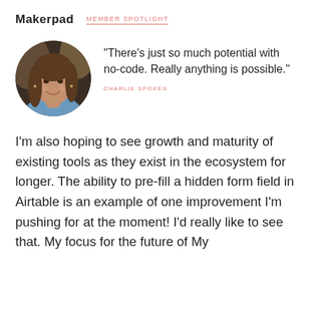Makerpad
MEMBER SPOTLIGHT
[Figure (photo): Circular portrait photo of a smiling woman with long brown hair wearing a blue top]
"There's just so much potential with no-code. Really anything is possible."
CHARLIE SPOKES
I'm also hoping to see growth and maturity of existing tools as they exist in the ecosystem for longer. The ability to pre-fill a hidden form field in Airtable is an example of one improvement I'm pushing for at the moment! I'd really like to see that. My focus for the future of My